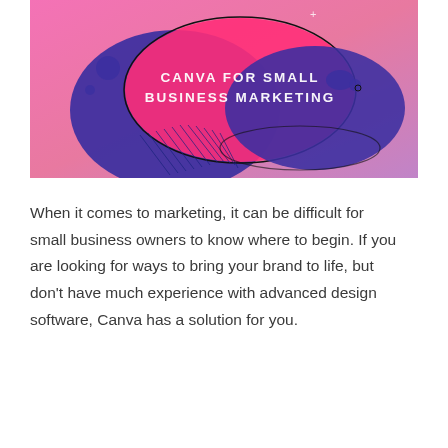[Figure (illustration): A graphic banner for 'Canva for Small Business Marketing' featuring abstract colorful shapes: a large pink/magenta oval, a large blue oval/blob overlapping it, smaller blue circles and dots, and diagonal lines, on a pink-to-purple gradient background. White text reads 'CANVA FOR SMALL BUSINESS MARKETING'.]
When it comes to marketing, it can be difficult for small business owners to know where to begin. If you are looking for ways to bring your brand to life, but don't have much experience with advanced design software, Canva has a solution for you.